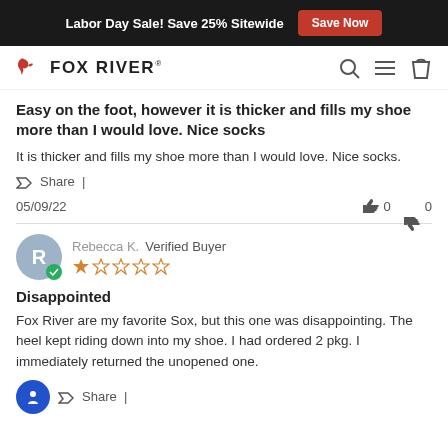Labor Day Sale! Save 25% Sitewide  Save Now
[Figure (logo): Fox River logo with fox icon and wordmark FOX RIVER]
Easy on the foot, however it is thicker and fills my shoe more than I would love. Nice socks
It is thicker and fills my shoe more than I would love. Nice socks.
Share |
05/09/22    👍 0   👎 0
Rebecca K.  Verified Buyer  ★☆☆☆☆
Disappointed
Fox River are my favorite Sox, but this one was disappointing. The heel kept riding down into my shoe. I had ordered 2 pkg. I immediately returned the unopened one.
Share |